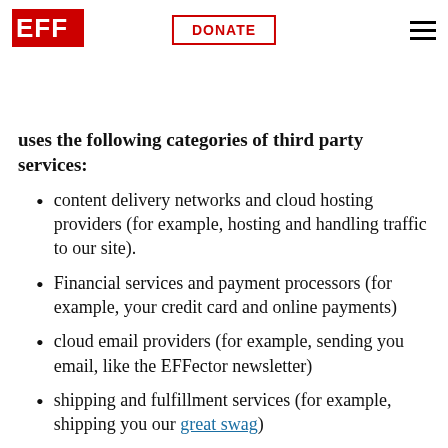EFF | DONATE
individual action alert webpages, are operated by third parties, such as targeted campaign service providers. When necessary and appropriate, EFF uses the following categories of third party services:
content delivery networks and cloud hosting providers (for example, hosting and handling traffic to our site).
Financial services and payment processors (for example, your credit card and online payments)
cloud email providers (for example, sending you email, like the EFFector newsletter)
shipping and fulfillment services (for example, shipping you our great swag)